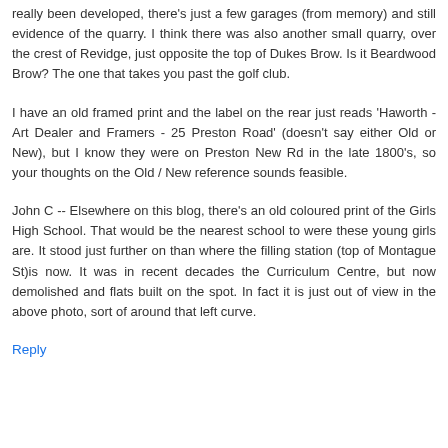really been developed, there's just a few garages (from memory) and still evidence of the quarry. I think there was also another small quarry, over the crest of Revidge, just opposite the top of Dukes Brow. Is it Beardwood Brow? The one that takes you past the golf club.
I have an old framed print and the label on the rear just reads 'Haworth - Art Dealer and Framers - 25 Preston Road' (doesn't say either Old or New), but I know they were on Preston New Rd in the late 1800's, so your thoughts on the Old / New reference sounds feasible.
John C -- Elsewhere on this blog, there's an old coloured print of the Girls High School. That would be the nearest school to were these young girls are. It stood just further on than where the filling station (top of Montague St)is now. It was in recent decades the Curriculum Centre, but now demolished and flats built on the spot. In fact it is just out of view in the above photo, sort of around that left curve.
Reply